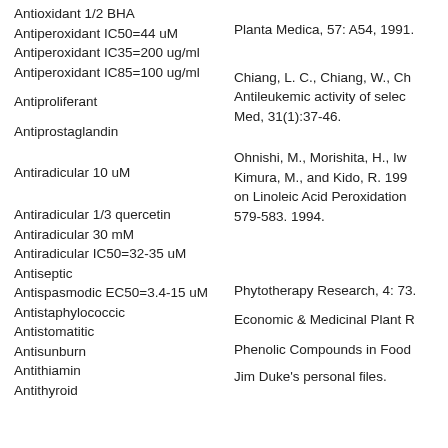Antioxidant 1/2 BHA
Antiperoxidant IC50=44 uM
Antiperoxidant IC35=200 ug/ml
Antiperoxidant IC85=100 ug/ml
Antiproliferant
Antiprostaglandin
Antiradicular 10 uM
Antiradicular 1/3 quercetin
Antiradicular 30 mM
Antiradicular IC50=32-35 uM
Antiseptic
Antispasmodic EC50=3.4-15 uM
Antistaphylococcic
Antistomatitic
Antisunburn
Antithiamin
Antithyroid
Planta Medica, 57: A54, 1991.
Chiang, L. C., Chiang, W., Ch... Antileukemic activity of selec... Med, 31(1):37-46.
Ohnishi, M., Morishita, H., Iw... Kimura, M., and Kido, R. 199... on Linoleic Acid Peroxidation... 579-583. 1994.
Phytotherapy Research, 4: 73.
Economic & Medicinal Plant R...
Phenolic Compounds in Food...
Jim Duke's personal files.